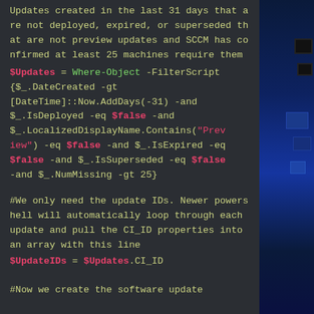Updates created in the last 31 days that are not deployed, expired, or superseded that are not preview updates and SCCM has confirmed at least 25 machines require them
[Figure (screenshot): PowerShell code block showing $Updates = Where-Object -FilterScript { $_.DateCreated -gt [DateTime]::Now.AddDays(-31) -and $_.IsDeployed -eq $false -and $_.LocalizedDisplayName.Contains("Preview") -eq $false -and $_.IsExpired -eq $false -and $_.IsSuperseded -eq $false -and $_.NumMissing -gt 25}]
#We only need the update IDs. Newer powershell will automatically loop through each update and pull the CI_ID properties into an array with this line
[Figure (screenshot): PowerShell code: $UpdateIDs = $Updates.CI_ID]
#Now we create the software update